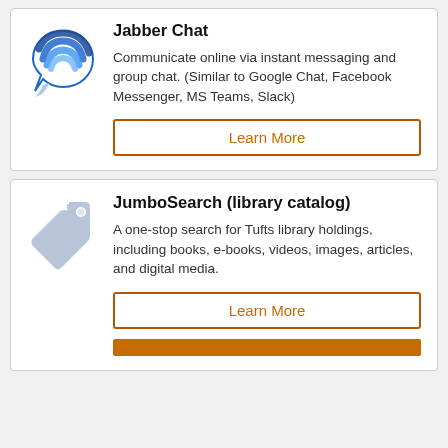Jabber Chat
Communicate online via instant messaging and group chat. (Similar to Google Chat, Facebook Messenger, MS Teams, Slack)
Learn More
JumboSearch (library catalog)
A one-stop search for Tufts library holdings, including books, e-books, videos, images, articles, and digital media.
Learn More